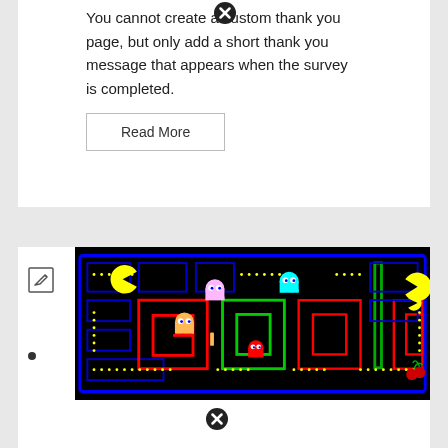You cannot create a custom thank you page, but only add a short thank you message that appears when the survey is completed.
Read More
[Figure (screenshot): Google Pac-Man doodle game screenshot showing the Pac-Man maze with the Google logo spelled out in colored maze walls on a black background, with Pac-Man character and ghosts visible.]